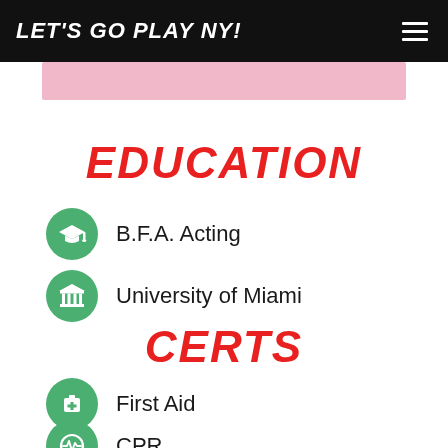LET'S GO PLAY NY!
[Figure (other): Pink decorative bar below header]
EDUCATION
B.F.A. Acting
University of Miami
CERTS
First Aid
CPR